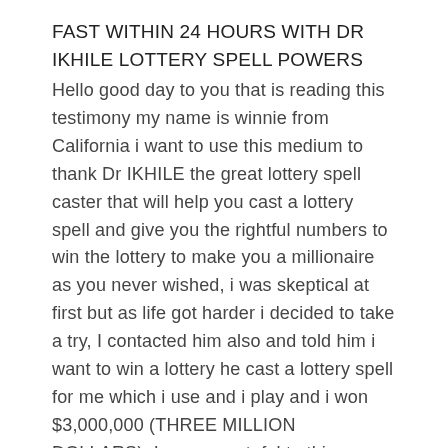FAST WITHIN 24 HOURS WITH DR IKHILE LOTTERY SPELL POWERS
Hello good day to you that is reading this testimony my name is winnie from California i want to use this medium to thank Dr IKHILE the great lottery spell caster that will help you cast a lottery spell and give you the rightful numbers to win the lottery to make you a millionaire as you never wished, i was skeptical at first but as life got harder i decided to take a try, I contacted him also and told him i want to win a lottery he cast a lottery spell for me which i use and i play and i won $3,000,000 (THREE MILLION DOLLARS). I am so grateful to this man Dr Ikhile and i am making this known to